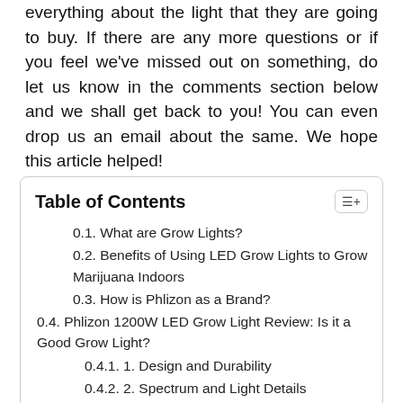and growers need to make sure they are aware about everything about the light that they are going to buy. If there are any more questions or if you feel we've missed out on something, do let us know in the comments section below and we shall get back to you! You can even drop us an email about the same. We hope this article helped!
Table of Contents
0.1. What are Grow Lights?
0.2. Benefits of Using LED Grow Lights to Grow Marijuana Indoors
0.3. How is Phlizon as a Brand?
0.4. Phlizon 1200W LED Grow Light Review: Is it a Good Grow Light?
0.4.1. 1. Design and Durability
0.4.2. 2. Spectrum and Light Details
0.4.3. 3. Brand Value and Credibility